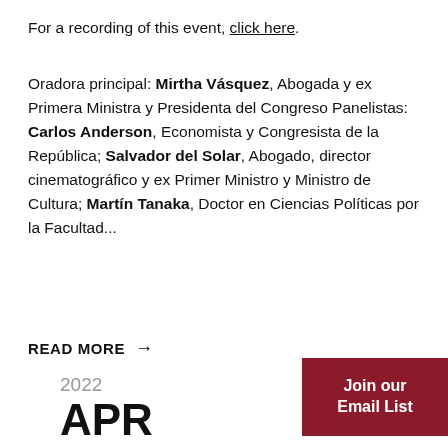For a recording of this event, click here.
Oradora principal: Mirtha Vásquez, Abogada y ex Primera Ministra y Presidenta del Congreso Panelistas: Carlos Anderson, Economista y Congresista de la República; Salvador del Solar, Abogado, director cinematográfico y ex Primer Ministro y Ministro de Cultura; Martín Tanaka, Doctor en Ciencias Políticas por la Facultad...
READ MORE →
Join our Email List
2022
APR
14